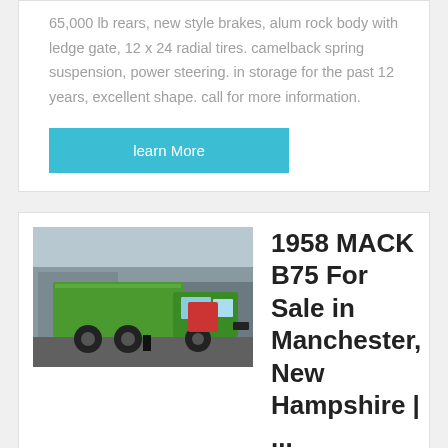65,000 lb rears, new style brakes, alum rock body with ledge gate, 12 x 24 radial tires. camelback spring suspension, power steering. in storage for the past 12 years, excellent shape. call for more information.
learn More
[Figure (photo): Green dump truck (MACK B75) photographed in a yard with buildings in background]
1958 MACK B75 For Sale in Manchester, New Hampshire | ...
1958 MACK B75 For Sale in